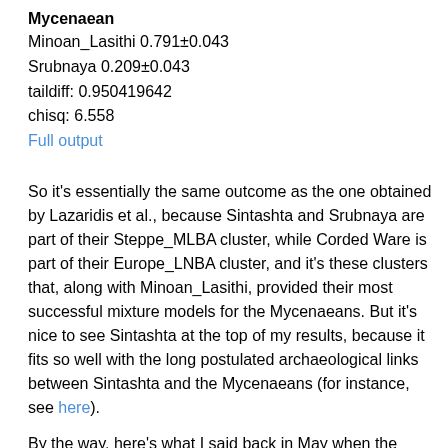Mycenaean
Minoan_Lasithi 0.791±0.043
Srubnaya 0.209±0.043
taildiff: 0.950419642
chisq: 6.558
Full output
So it's essentially the same outcome as the one obtained by Lazaridis et al., because Sintashta and Srubnaya are part of their Steppe_MLBA cluster, while Corded Ware is part of their Europe_LNBA cluster, and it's these clusters that, along with Minoan_Lasithi, provided their most successful mixture models for the Mycenaeans. But it's nice to see Sintashta at the top of my results, because it fits so well with the long postulated archaeological links between Sintashta and the Mycenaeans (for instance, see here).
By the way, here's what I said back in May when the Mathieson et al. 2017 preprint came out (see here). So things are falling into place rather nicely.